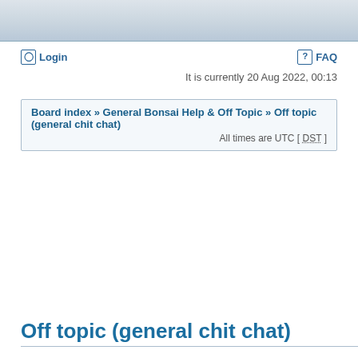Login   FAQ
It is currently 20 Aug 2022, 00:13
Board index » General Bonsai Help & Off Topic » Off topic (general chit chat)  All times are UTC [ DST ]
Off topic (general chit chat)